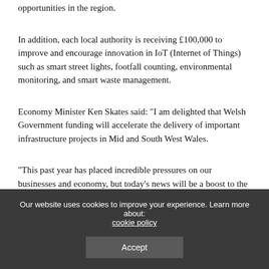opportunities in the region.
In addition, each local authority is receiving £100,000 to improve and encourage innovation in IoT (Internet of Things) such as smart street lights, footfall counting, environmental monitoring, and smart waste management.
Economy Minister Ken Skates said: “I am delighted that Welsh Government funding will accelerate the delivery of important infrastructure projects in Mid and South West Wales.
“This past year has placed incredible pressures on our businesses and economy, but today’s news will be a boost to the area and the firms and residents that will benefit.
Our website uses cookies to improve your experience. Learn more about: cookie policy Accept